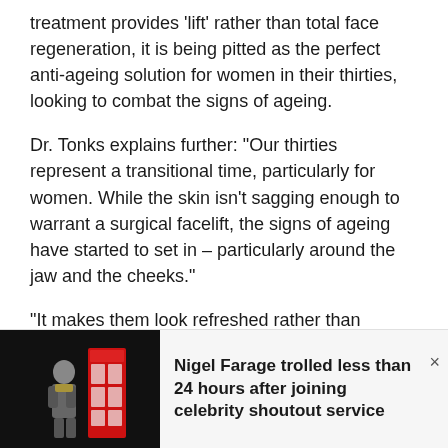treatment provides ‘lift’ rather than total face regeneration, it is being pitted as the perfect anti-ageing solution for women in their thirties, looking to combat the signs of ageing.
Dr. Tonks explains further: “Our thirties represent a transitional time, particularly for women. While the skin isn’t sagging enough to warrant a surgical facelift, the signs of ageing have started to set in – particularly around the jaw and the cheeks.”
“It makes them look refreshed rather than different. No one wants to look like they’ve had work done, especially in their thirties.”
[Figure (photo): A man standing next to a red British telephone box, photographed from outside.]
Nigel Farage trolled less than 24 hours after joining celebrity shoutout service